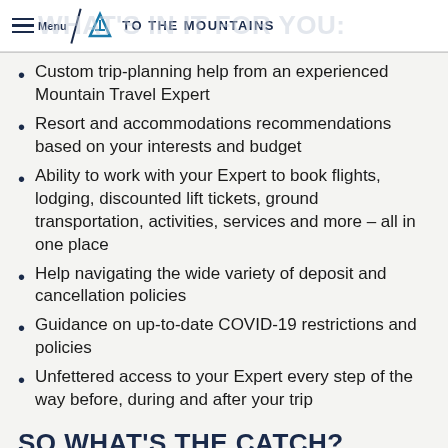Menu | TO THE MOUNTAINS
WHAT'S IN IT FOR YOU:
Custom trip-planning help from an experienced Mountain Travel Expert
Resort and accommodations recommendations based on your interests and budget
Ability to work with your Expert to book flights, lodging, discounted lift tickets, ground transportation, activities, services and more – all in one place
Help navigating the wide variety of deposit and cancellation policies
Guidance on up-to-date COVID-19 restrictions and policies
Unfettered access to your Expert every step of the way before, during and after your trip
SO WHAT'S THE CATCH?